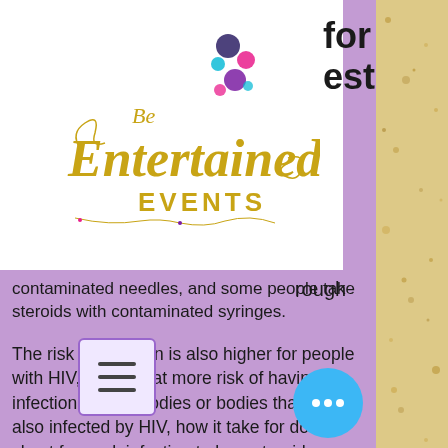[Figure (logo): Be Entertained Events logo with colorful bubbles and decorative script text]
for
est
rough
ng
contaminated needles, and some people take steroids with contaminated syringes.
The risk of infection is also higher for people with HIV, who are at more risk of having infection in their bodies or bodies that are also infected by HIV, how it take for does chest for work infection to long steroids.
And even with condom use, the risk of pregnancy is significantly higher in ste users even when using a condom, a n study from the University of Toronto's